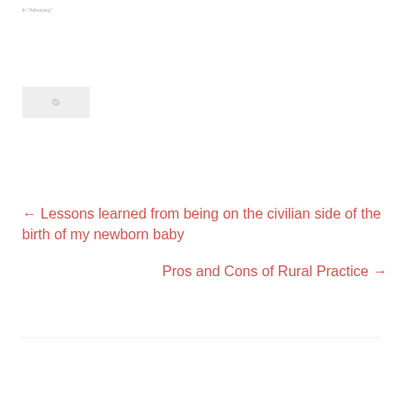In "Advocacy"
[Figure (illustration): Placeholder image with a broken/link icon indicating a missing or unavailable image]
← Lessons learned from being on the civilian side of the birth of my newborn baby
Pros and Cons of Rural Practice →